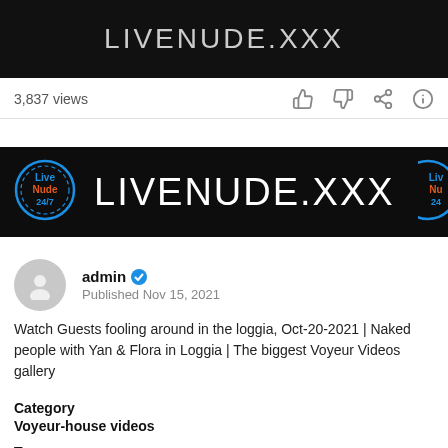[Figure (screenshot): Top black banner with text LIVENUDE.XXX in light gray letters]
3,837 views
[Figure (screenshot): Wide black banner with Live Nude 24/7 circle logo on left and LIVENUDE.XXX text in white, partial logo on right edge]
admin Published Nov 15, 2021
Watch Guests fooling around in the loggia, Oct-20-2021 | Naked people with Yan & Flora in Loggia | The biggest Voyeur Videos gallery
Category
Voyeur-house videos
Tags